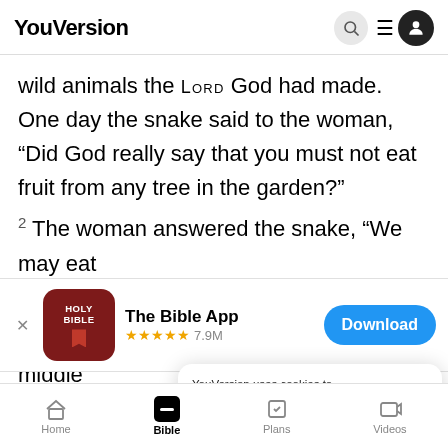YouVersion
wild animals the LORD God had made. One day the snake said to the woman, “Did God really say that you must not eat fruit from any tree in the garden?”
2 The woman answered the snake, “We may eat
[Figure (screenshot): The Bible App download banner with icon, 5-star rating 7.9M, and Download button]
middle
or you w
YouVersion uses cookies to personalize your experience. By using our website, you accept our use of cookies as described in our Privacy Policy.
Home | Bible | Plans | Videos